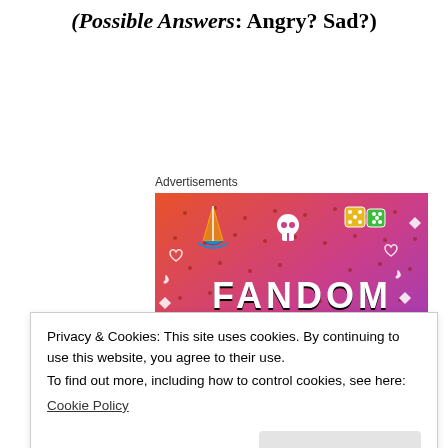(Possible Answers: Angry? Sad?)
Advertisements
[Figure (illustration): Fandom on Tumblr advertisement banner with colorful orange-to-purple gradient background, doodles of a sailboat, skull, dice, arrows, hearts, music notes, and bold text reading FANDOM ON tumblr]
Privacy & Cookies: This site uses cookies. By continuing to use this website, you agree to their use.
To find out more, including how to control cookies, see here:
Cookie Policy
Close and accept